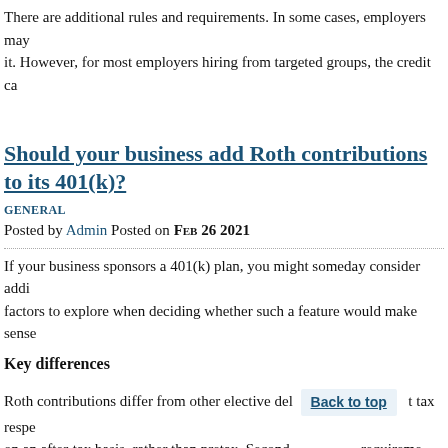There are additional rules and requirements. In some cases, employers may it. However, for most employers hiring from targeted groups, the credit ca
Should your business add Roth contributions to its 401(k)?
GENERAL
Posted by Admin Posted on Feb 26 2021
If your business sponsors a 401(k) plan, you might someday consider addi factors to explore when deciding whether such a feature would make sense
Key differences
Roth contributions differ from other elective del [Back to top] tax respe on an after-tax basis, rather than pretax. Second, [..] requireme “qualified distribution,” the earnings won’t be subject to federal income ta
To be qualified, a distribution generally must occur after a five-year waitin 59½, becomes disabled or dies. Because of the different tax treatment, pla Roth contributions.
Pluses and minuses
The Roth option gives participants an opportunity to hedge against the